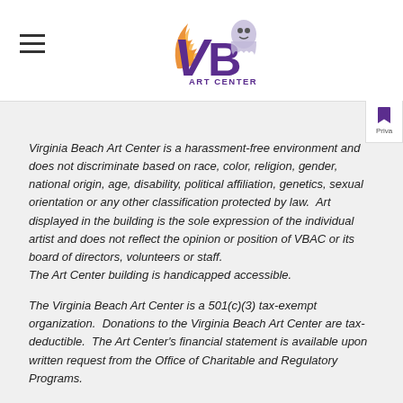VB Art Center
Virginia Beach Art Center is a harassment-free environment and does not discriminate based on race, color, religion, gender, national origin, age, disability, political affiliation, genetics, sexual orientation or any other classification protected by law.  Art displayed in the building is the sole expression of the individual artist and does not reflect the opinion or position of VBAC or its board of directors, volunteers or staff.
The Art Center building is handicapped accessible.
The Virginia Beach Art Center is a 501(c)(3) tax-exempt organization.  Donations to the Virginia Beach Art Center are tax-deductible.  The Art Center's financial statement is available upon written request from the Office of Charitable and Regulatory Programs.